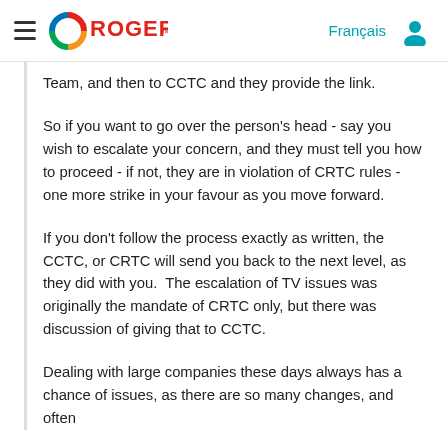Rogers — Français [nav header with hamburger menu, Rogers logo, Français link, user icon]
Team, and then to CCTC and they provide the link.
So if you want to go over the person's head - say you wish to escalate your concern, and they must tell you how to proceed - if not, they are in violation of CRTC rules - one more strike in your favour as you move forward.
If you don't follow the process exactly as written, the CCTC, or CRTC will send you back to the next level, as they did with you.  The escalation of TV issues was originally the mandate of CRTC only, but there was discussion of giving that to CCTC.
Dealing with large companies these days always has a chance of issues, as there are so many changes, and often